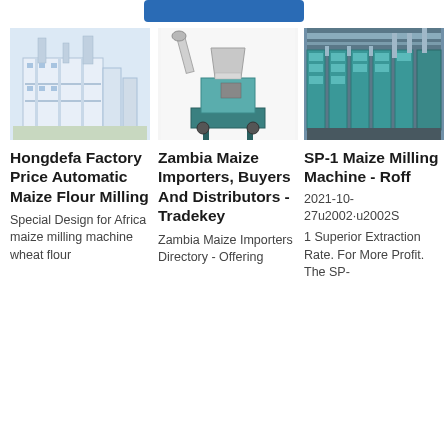[Figure (photo): Blue button/banner at top of page]
[Figure (photo): Hongdefa large industrial maize flour milling facility with blue and white structure]
Hongdefa Factory Price Automatic Maize Flour Milling
Special Design for Africa maize milling machine wheat flour
[Figure (photo): Zambia Maize standalone milling machine with teal/green base on white background]
Zambia Maize Importers, Buyers And Distributors - Tradekey
Zambia Maize Importers Directory - Offering
[Figure (photo): SP-1 Maize Milling Machine factory interior showing rows of machines with teal/blue equipment]
SP-1 Maize Milling Machine - Roff
2021-10-27u2002·u2002S
1 Superior Extraction Rate. For More Profit. The SP-